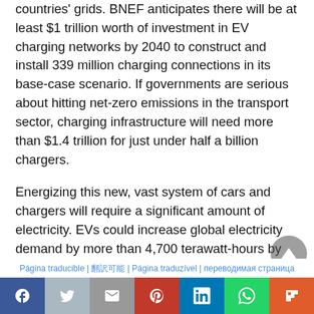countries' grids. BNEF anticipates there will be at least $1 trillion worth of investment in EV charging networks by 2040 to construct and install 339 million charging connections in its base-case scenario. If governments are serious about hitting net-zero emissions in the transport sector, charging infrastructure will need more than $1.4 trillion for just under half a billion chargers.
Energizing this new, vast system of cars and chargers will require a significant amount of electricity. EVs could increase global electricity demand by more than 4,700 terawatt-hours by
Página traducible | 翻訳可能 | Página traduzível | переводимая страница